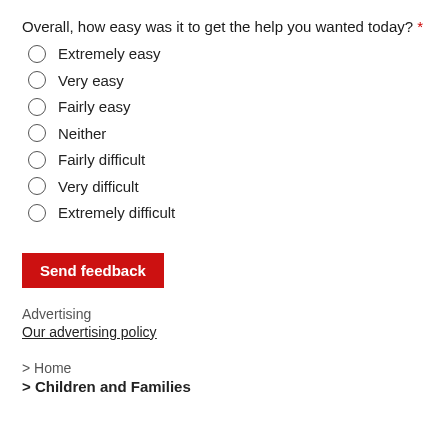Overall, how easy was it to get the help you wanted today? *
Extremely easy
Very easy
Fairly easy
Neither
Fairly difficult
Very difficult
Extremely difficult
Send feedback
Advertising
Our advertising policy
> Home
> Children and Families